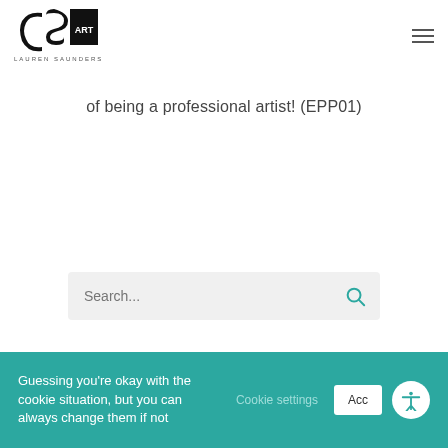[Figure (logo): CSI Art - Lauren Saunders logo with stylized C, S, and ART text]
of being a professional artist! (EPP01)
[Figure (other): Search bar with search icon]
Guessing you're okay with the cookie situation, but you can always change them if not
Cookie settings
Acc